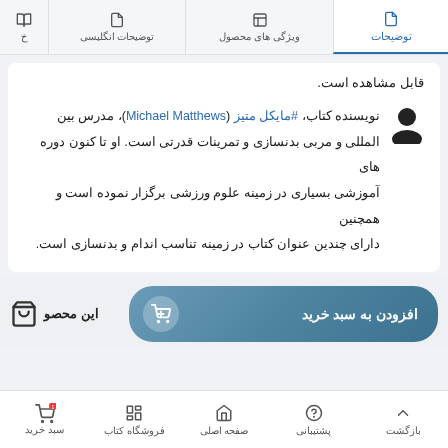توضیحات | ویژگی های محصول | توضیحات انگلیسی | خ
قابل مشاهده است.
نویسنده کتاب، #مایکل متیز (Michael Matthews)، مدرس بین المللی و مربی بدنسازی و تمرینات قدرتی است. او تا کنون دوره های آموزشی بسیاری در زمینه علوم ورزشی برگزار نموده است و همچنین دارای چندین عنوان کتاب در زمینه تناسب اندام و بدنسازی است.
افزودن به سبد خرید
این محصو
بازگشت | پشتیبانی | صفحه اصلی | فروشگاه کتاب | سبد خرید